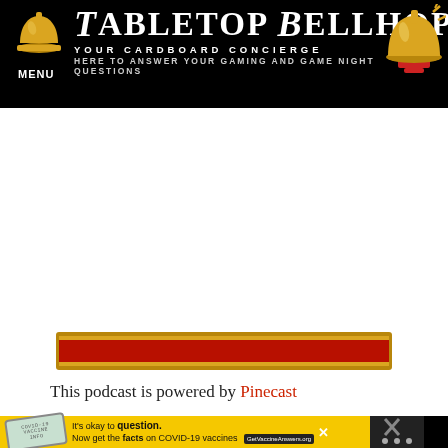MENU | Tabletop Bellhop — Your Cardboard Concierge. Here to answer your gaming and game night questions.
[Figure (illustration): Decorative horizontal stripe bar in red and gold colors]
This podcast is powered by Pinecast
[Figure (infographic): Ad bar: It's okay to question. Now get the facts on COVID-19 vaccines. GetVaccineAnswers.org]